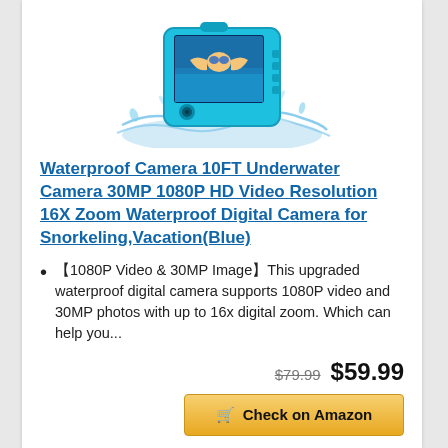[Figure (photo): Waterproof camera product photo showing a teal/blue waterproof digital camera submerged in water with a swimmer visible on the screen]
Waterproof Camera 10FT Underwater Camera 30MP 1080P HD Video Resolution 16X Zoom Waterproof Digital Camera for Snorkeling,Vacation(Blue)
【1080P Video & 30MP Image】This upgraded waterproof digital camera supports 1080P video and 30MP photos with up to 16x digital zoom. Which can help you...
$79.99  $59.99
Check on Amazon